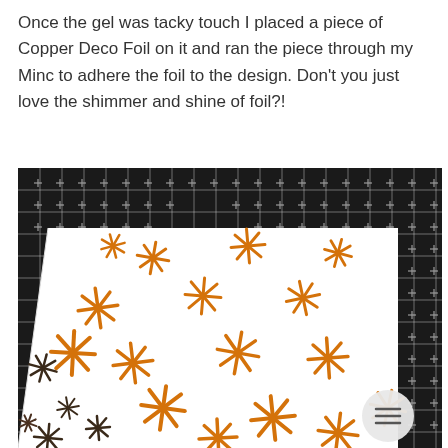Once the gel was tacky touch I placed a piece of Copper Deco Foil on it and ran the piece through my Minc to adhere the foil to the design. Don't you just love the shimmer and shine of foil?!
[Figure (photo): A white piece of paper with copper/orange foil snowflake star shapes adhered to it, placed on a black cutting mat with a white grid pattern. The foil snowflakes are scattered across the paper. In the bottom right corner there is a circular menu button icon. Some dark brown snowflake shapes are visible along the left and bottom edges.]